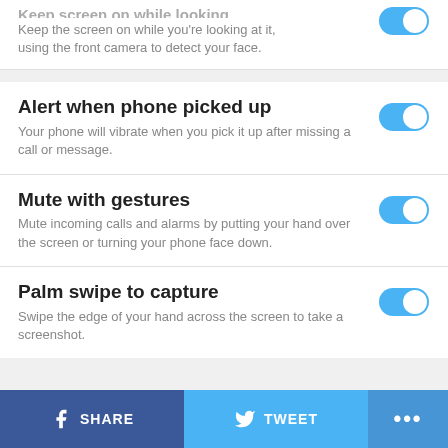Keep screen on while looking
Keep the screen on while you're looking at it, using the front camera to detect your face.
Alert when phone picked up
Your phone will vibrate when you pick it up after missing a call or message.
Mute with gestures
Mute incoming calls and alarms by putting your hand over the screen or turning your phone face down.
Palm swipe to capture
Swipe the edge of your hand across the screen to take a screenshot.
SHARE  TWEET  ...